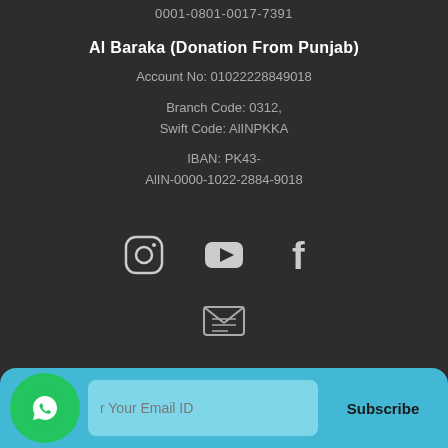0001-0801-0017-7391
Al Baraka (Donation From Punjab)
Account No: 01022228849018
Branch Code: 0312,
Swift Code: AlINPKKA
IBAN: PK43-
AlIN-0000-1022-2884-9018
[Figure (infographic): Social media icons: Instagram, YouTube, Facebook]
[Figure (infographic): Email/envelope icon]
[Figure (infographic): Subscribe bar with WhatsApp button, email input field, and Subscribe button]